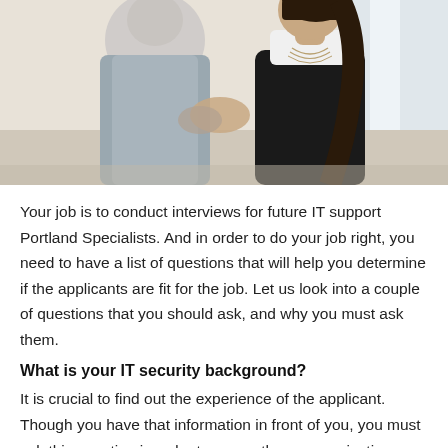[Figure (photo): Two women shaking hands in a professional/interview setting. One woman is seen from behind wearing a grey blazer, the other is facing forward wearing a black and white dress with a layered necklace.]
Your job is to conduct interviews for future IT support Portland Specialists. And in order to do your job right, you need to have a list of questions that will help you determine if the applicants are fit for the job. Let us look into a couple of questions that you should ask, and why you must ask them.
What is your IT security background?
It is crucial to find out the experience of the applicant. Though you have that information in front of you, you must ask this question in order to gauge the communication skills of the aspiring IT support